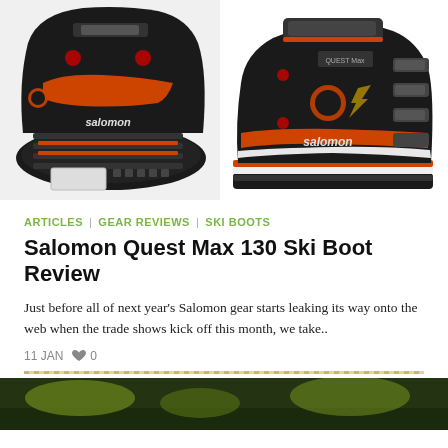[Figure (photo): Two Salomon ski boots product photos — left image shows bottom/sole view of a black and orange Salomon ski boot, right image shows side view of the same Salomon Quest Max ski boot in black and orange colorway]
ARTICLES | GEAR REVIEWS | SKI BOOTS
Salomon Quest Max 130 Ski Boot Review
Just before all of next year's Salomon gear starts leaking its way onto the web when the trade shows kick off this month, we take..
11 JAN  ♥ 0
[Figure (photo): Partial bottom edge of another article image, showing yellow-green and dark colors, likely outdoor/skiing related]